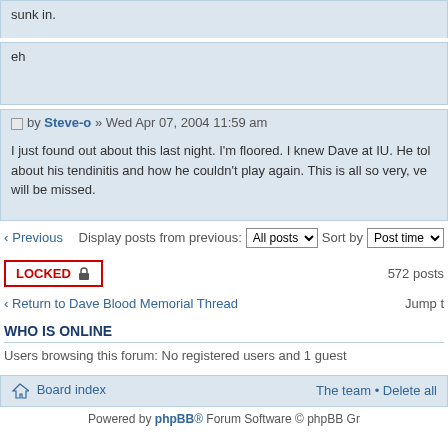sunk in.
eh
by Steve-o » Wed Apr 07, 2004 11:59 am
I just found out about this last night. I'm floored. I knew Dave at IU. He told about his tendinitis and how he couldn't play again. This is all so very, ve will be missed.
Previous   Display posts from previous: All posts  Sort by Post time
LOCKED   572 posts
Return to Dave Blood Memorial Thread   Jump t
WHO IS ONLINE
Users browsing this forum: No registered users and 1 guest
Board index   The team • Delete all   Powered by phpBB® Forum Software © phpBB Gr